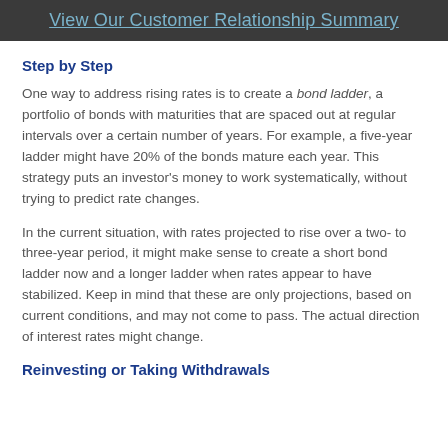View Our Customer Relationship Summary
Step by Step
One way to address rising rates is to create a bond ladder, a portfolio of bonds with maturities that are spaced out at regular intervals over a certain number of years. For example, a five-year ladder might have 20% of the bonds mature each year. This strategy puts an investor's money to work systematically, without trying to predict rate changes.
In the current situation, with rates projected to rise over a two- to three-year period, it might make sense to create a short bond ladder now and a longer ladder when rates appear to have stabilized. Keep in mind that these are only projections, based on current conditions, and may not come to pass. The actual direction of interest rates might change.
Reinvesting or Taking Withdrawals